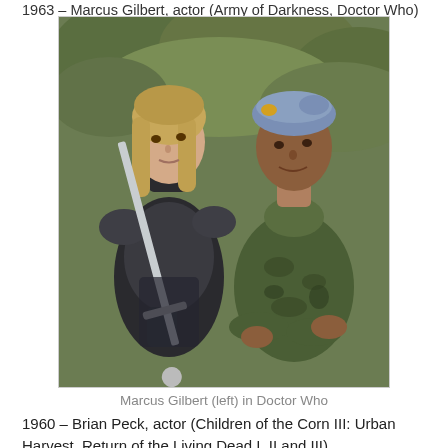1963 – Marcus Gilbert, actor (Army of Darkness, Doctor Who)
[Figure (photo): Two men posing outdoors. Left man wears medieval knight armor and holds a sword; right man wears camouflage military uniform and blue beret.]
Marcus Gilbert (left) in Doctor Who
1960 – Brian Peck, actor (Children of the Corn III: Urban Harvest, Return of the Living Dead I, II and III)
1963 – Alexandra Paul, actor (A.I. Assault, Cyber Bandits)
1965 – Dean Haglund, actor (The Icarus II Project, Atlantis Down, The